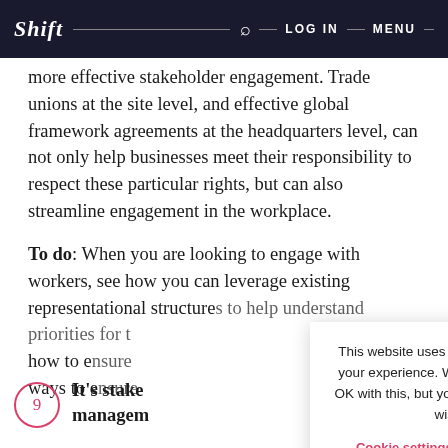Shift — Q — LOG IN — MENU
more effective stakeholder engagement. Trade unions at the site level, and effective global framework agreements at the headquarters level, can not only help businesses meet their responsibility to respect these particular rights, but can also streamline engagement in the workplace.
To do: When you are looking to engage with workers, see how you can leverage existing representational structures to help understand priorities for them, how to ensure... ways to e...
This website uses cookies to improve your experience. We'll assume you're OK with this, but you can opt-out if you wish.
Cookie settings   ACCEPT
9  It's stake... managem...